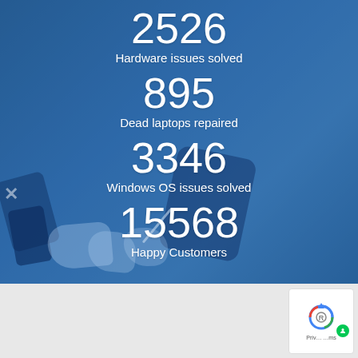2526
Hardware issues solved
895
Dead laptops repaired
3346
Windows OS issues solved
15568
Happy Customers
[Figure (photo): Background photo of electronic repair tools, phone parts, and gloved hand on blue surface]